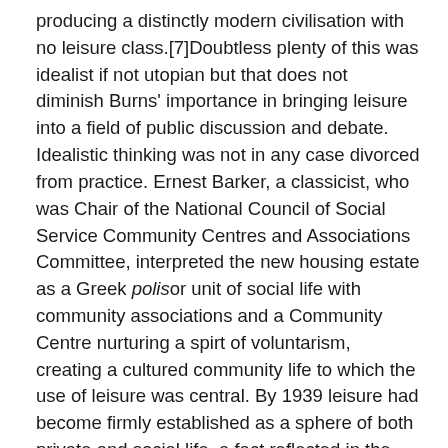producing a distinctly modern civilisation with no leisure class.[7]Doubtless plenty of this was idealist if not utopian but that does not diminish Burns' importance in bringing leisure into a field of public discussion and debate. Idealistic thinking was not in any case divorced from practice. Ernest Barker, a classicist, who was Chair of the National Council of Social Service Community Centres and Associations Committee, interpreted the new housing estate as a Greek polisor unit of social life with community associations and a Community Centre nurturing a spirt of voluntarism, creating a cultured community life to which the use of leisure was central. By 1939 leisure had become firmly established as a sphere of both private and social life, a fact reflected in the 1938 Holidays with Pay Act.[8]In practical terms, advances were limited due to lack of money, a shortage of playing fields and widespread and in some cases prolonged unemployment. This should